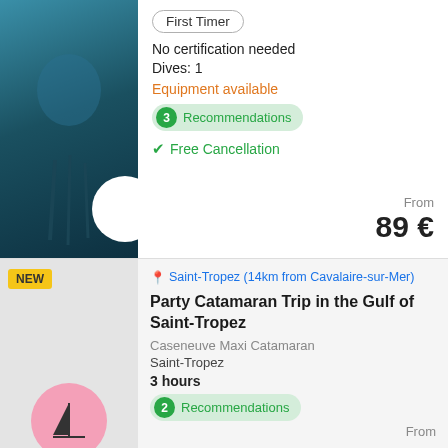[Figure (photo): Scuba diver underwater with equipment, dark blue tones]
First Timer
No certification needed
Dives: 1
Equipment available
3 Recommendations
✓ Free Cancellation
From 89 €
[Figure (photo): Gray placeholder for catamaran trip, with pink circle logo showing sailboat]
NEW
Saint-Tropez (14km from Cavalaire-sur-Mer)
Party Catamaran Trip in the Gulf of Saint-Tropez
Caseneuve Maxi Catamaran
Saint-Tropez
3 hours
2 Recommendations
From